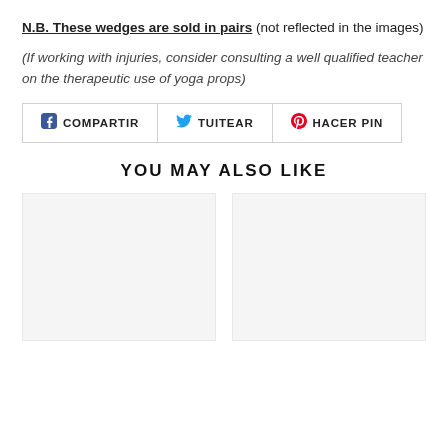N.B. These wedges are sold in pairs (not reflected in the images)
(If working with injuries, consider consulting a well qualified teacher on the therapeutic use of yoga props)
[Figure (other): Social share buttons row: COMPARTIR (Facebook), TUITEAR (Twitter), HACER PIN (Pinterest)]
YOU MAY ALSO LIKE
[Figure (other): Two product image placeholders side by side (light gray boxes)]